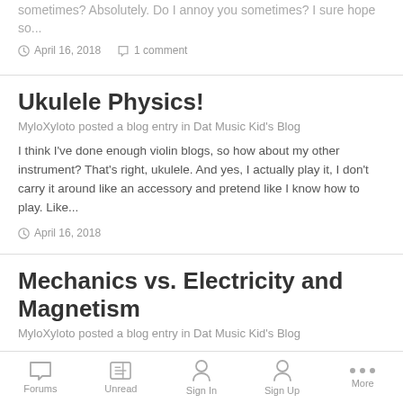sometimes? Absolutely. Do I annoy you sometimes? I sure hope so...
April 16, 2018   1 comment
Ukulele Physics!
MyloXyloto posted a blog entry in Dat Music Kid's Blog
I think I've done enough violin blogs, so how about my other instrument? That's right, ukulele. And yes, I actually play it, I don't carry it around like an accessory and pretend like I know how to play. Like...
April 16, 2018
Mechanics vs. Electricity and Magnetism
MyloXyloto posted a blog entry in Dat Music Kid's Blog
At this point, we have finished mechanics, and we are starting to finish up electricity and magnetism. Each of these courses had it's own set of
Forums   Unread   Sign In   Sign Up   More